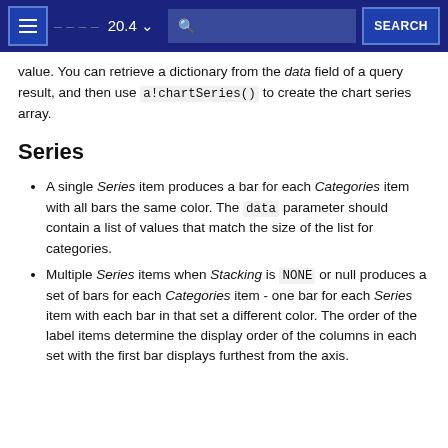20.4 SEARCH
value. You can retrieve a dictionary from the data field of a query result, and then use a!chartSeries() to create the chart series array.
Series
A single Series item produces a bar for each Categories item with all bars the same color. The data parameter should contain a list of values that match the size of the list for categories.
Multiple Series items when Stacking is NONE or null produces a set of bars for each Categories item - one bar for each Series item with each bar in that set a different color. The order of the label items determine the display order of the columns in each set with the first bar displays furthest from the axis.